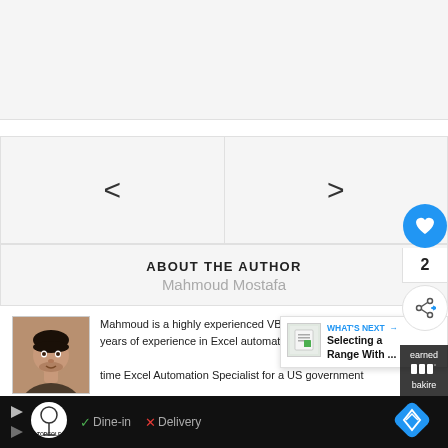[Figure (screenshot): Top gray placeholder area]
[Figure (screenshot): Navigation row with left arrow (<) and right arrow (>)]
ABOUT THE AUTHOR
Mahmoud Mostafa
[Figure (photo): Author photo of Mahmoud Mostafa]
Mahmoud is a highly experienced VBA cod... years of experience in Excel automation. ... time Excel Automation Specialist for a US government
[Figure (screenshot): What's Next popup: Selecting a Range With ...]
[Figure (screenshot): Floating action buttons: heart (blue), count 2, share]
[Figure (screenshot): Ad bar at bottom: TopGolf ad with Dine-in, Delivery options]